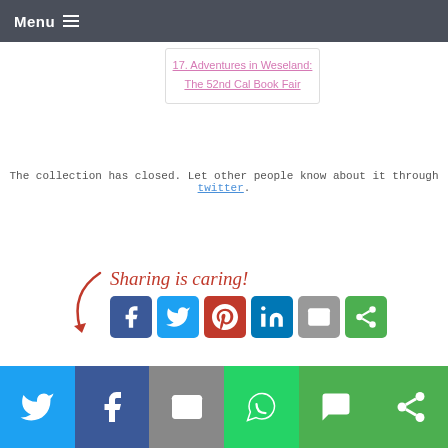Menu
17. Adventures in Weseland: The 52nd Cal Book Fair
The collection has closed. Let other people know about it through twitter.
[Figure (infographic): Sharing is caring! text with social share icons: Facebook, Twitter, Pinterest, LinkedIn, Email, and a green share icon]
[Figure (infographic): Bottom bar with social share buttons: Twitter, Facebook, Email, WhatsApp, SMS, Other]